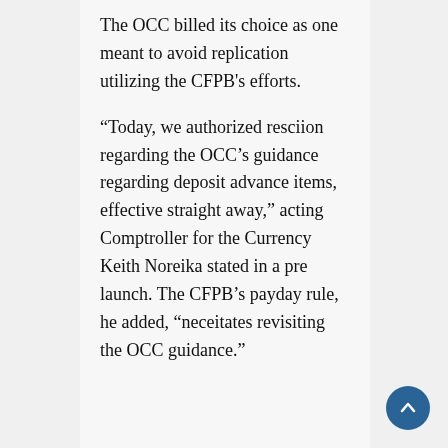The OCC billed its choice as one meant to avoid replication utilizing the CFPB's efforts.
“Today, we authorized resciion regarding the OCC’s guidance regarding deposit advance items, effective straight away,” acting Comptroller for the Currency Keith Noreika stated in a pre launch. The CFPB’s payday rule, he added, “neceitates revisiting the OCC guidance.”